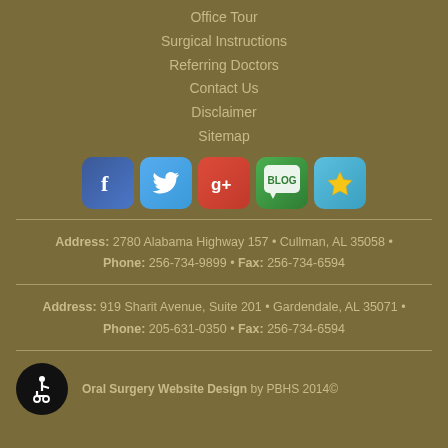Office Tour
Surgical Instructions
Referring Doctors
Contact Us
Disclaimer
Sitemap
[Figure (illustration): Social media icons: Facebook, Twitter, Google+, Blog, Reviews/Ratings]
Address: 2780 Alabama Highway 157 • Cullman, AL 35058 • Phone: 256-734-9899 • Fax: 256-734-6594
Address: 919 Sharit Avenue, Suite 201 • Gardendale, AL 35071 • Phone: 205-631-0350 • Fax: 256-734-6594
Oral Surgery Website Design by PBHS 2014©